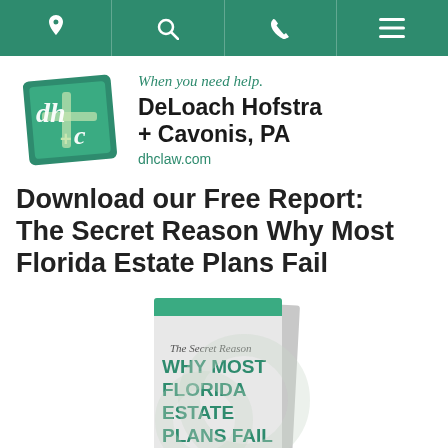Navigation bar with location, search, phone, and menu icons
[Figure (logo): DeLoach Hofstra + Cavonis, PA law firm logo with green diamond shape containing dh+c letters, tagline 'When you need help.', firm name 'DeLoach Hofstra + Cavonis, PA', and website dhclaw.com]
Download our Free Report: The Secret Reason Why Most Florida Estate Plans Fail
[Figure (photo): Book cover showing 'The Secret Reason WHY MOST FLORIDA ESTATE PLANS FAIL' text on a light gray book with green stripe at top]